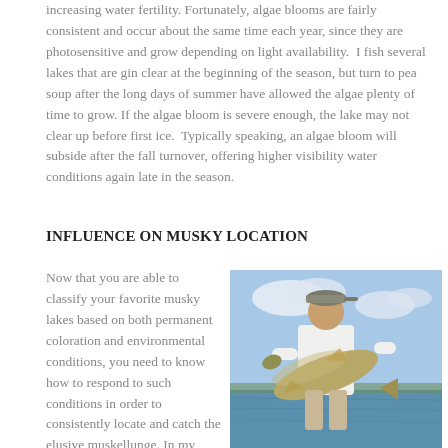increasing water fertility. Fortunately, algae blooms are fairly consistent and occur about the same time each year, since they are photosensitive and grow depending on light availability. I fish several lakes that are gin clear at the beginning of the season, but turn to pea soup after the long days of summer have allowed the algae plenty of time to grow. If the algae bloom is severe enough, the lake may not clear up before first ice. Typically speaking, an algae bloom will subside after the fall turnover, offering higher visibility water conditions again late in the season.
INFLUENCE ON MUSKY LOCATION
Now that you are able to classify your favorite musky lakes based on both permanent coloration and environmental conditions, you need to know how to respond to such conditions in order to consistently locate and catch the elusive muskellunge. In my opinion, stained lakes provide the most consistent
[Figure (photo): A person standing outdoors near a lake, holding a large muskellunge fish. The person is wearing a white shirt and a cap. The background shows open water and a partly cloudy sky.]